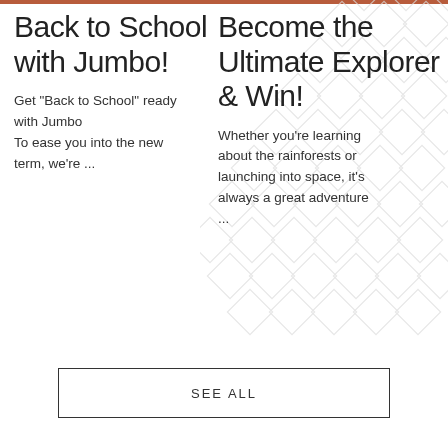Back to School with Jumbo!
Get "Back to School" ready with Jumbo
To ease you into the new term, we're ...
Become the Ultimate Explorer & Win!
Whether you're learning about the rainforests or launching into space, it's always a great adventure ...
SEE ALL